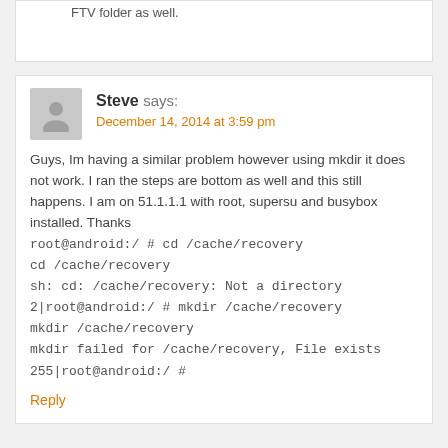FTV folder as well.
Steve says:
December 14, 2014 at 3:59 pm
Guys, Im having a similar problem however using mkdir it does not work. I ran the steps are bottom as well and this still happens. I am on 51.1.1.1 with root, supersu and busybox installed. Thanks
root@android:/ # cd /cache/recovery
cd /cache/recovery
sh: cd: /cache/recovery: Not a directory
2|root@android:/ # mkdir /cache/recovery
mkdir /cache/recovery
mkdir failed for /cache/recovery, File exists
255|root@android:/ #
Reply